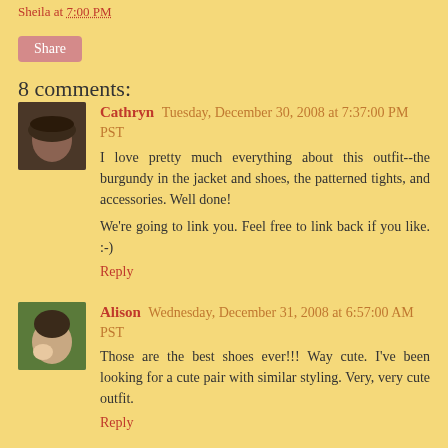Sheila at 7:00 PM
Share
8 comments:
Cathryn Tuesday, December 30, 2008 at 7:37:00 PM PST
I love pretty much everything about this outfit--the burgundy in the jacket and shoes, the patterned tights, and accessories. Well done!
We're going to link you. Feel free to link back if you like. :-)
Reply
Alison Wednesday, December 31, 2008 at 6:57:00 AM PST
Those are the best shoes ever!!! Way cute. I've been looking for a cute pair with similar styling. Very, very cute outfit.
Reply